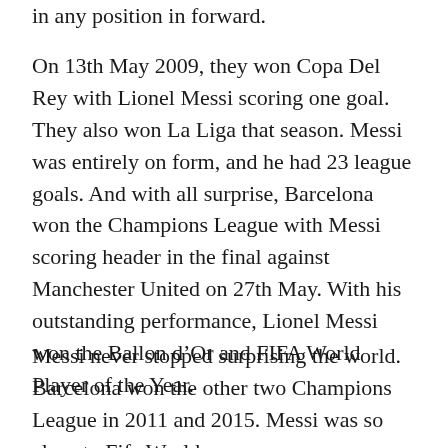in any position in forward.
On 13th May 2009, they won Copa Del Rey with Lionel Messi scoring one goal. They also won La Liga that season. Messi was entirely on form, and he had 23 league goals. And with all surprise, Barcelona won the Champions League with Messi scoring header in the final against Manchester United on 27th May. With his outstanding performance, Lionel Messi won the Ballon d’Or and FIFA World Player of the Year.
Messi never stopped surprising the world. Barcelona won the other two Champions League in 2011 and 2015. Messi was so close to Fifa World